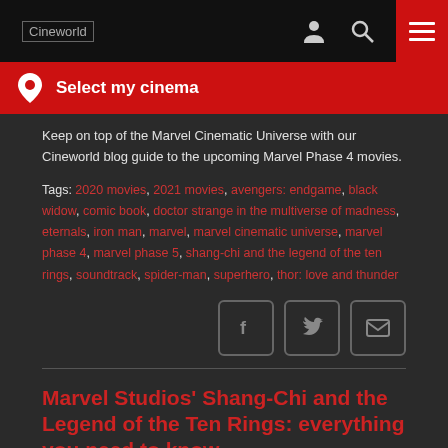Cineworld | Select my cinema
Keep on top of the Marvel Cinematic Universe with our Cineworld blog guide to the upcoming Marvel Phase 4 movies.
Tags: 2020 movies, 2021 movies, avengers: endgame, black widow, comic book, doctor strange in the multiverse of madness, eternals, iron man, marvel, marvel cinematic universe, marvel phase 4, marvel phase 5, shang-chi and the legend of the ten rings, soundtrack, spider-man, superhero, thor: love and thunder
[Figure (other): Social share buttons: Facebook, Twitter, Email]
Marvel Studios' Shang-Chi and the Legend of the Ten Rings: everything you need to know
Sean Wilson | Posted on Aug 31, 2021 10:26:25 AM